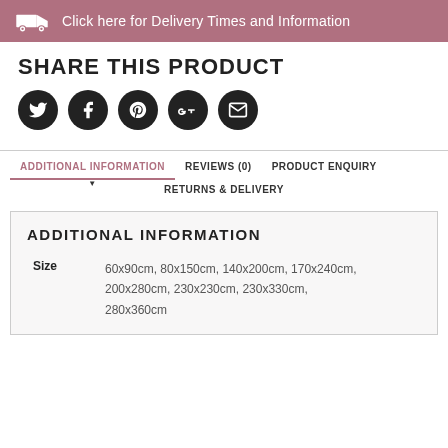[Figure (infographic): Delivery banner with truck icon and text: Click here for Delivery Times and Information]
SHARE THIS PRODUCT
[Figure (infographic): Five social media icon circles: Twitter, Facebook, Pinterest, Google+, Email]
ADDITIONAL INFORMATION
REVIEWS (0)
PRODUCT ENQUIRY
RETURNS & DELIVERY
ADDITIONAL INFORMATION
|  |  |
| --- | --- |
| Size | 60x90cm, 80x150cm, 140x200cm, 170x240cm, 200x280cm, 230x230cm, 230x330cm, 280x360cm |